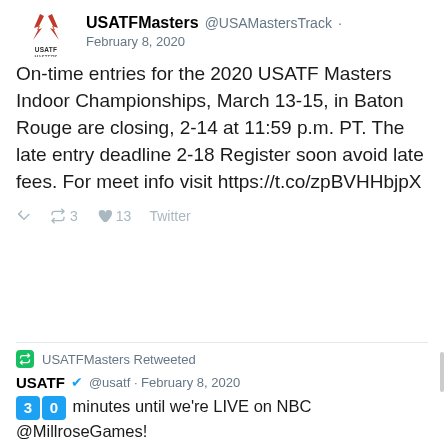[Figure (logo): USATF Masters logo with red lightning bolt wings above text USATF MASTERS]
USATFMasters @USAMastersTrack · February 8, 2020
On-time entries for the 2020 USATF Masters Indoor Championships, March 13-15, in Baton Rouge are closing, 2-14 at 11:59 p.m. PT. The late entry deadline 2-18 Register soon avoid late fees. For meet info visit https://t.co/zpBVHHbjpX
↩ 🔁 3 ♥ 13 Twitter
USATFMasters Retweeted
USATF ✓ @usatf · February 8, 2020
3 0 minutes until we're LIVE on NBC @MillroseGames!
Stay tuned after the broadcast for The Cool